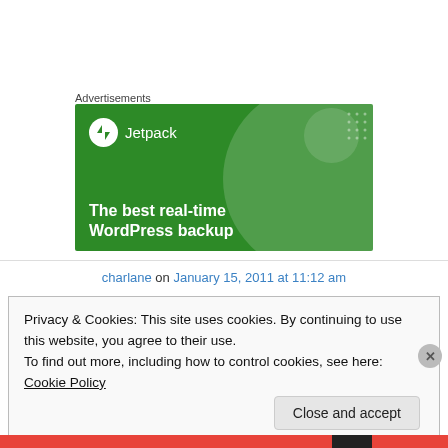Advertisements
[Figure (screenshot): Jetpack advertisement banner on green background with large circle decoration. Logo shows Jetpack icon and name. Headline reads: The best real-time WordPress backup]
charlane on January 15, 2011 at 11:12 am
Privacy & Cookies: This site uses cookies. By continuing to use this website, you agree to their use.
To find out more, including how to control cookies, see here: Cookie Policy
Close and accept